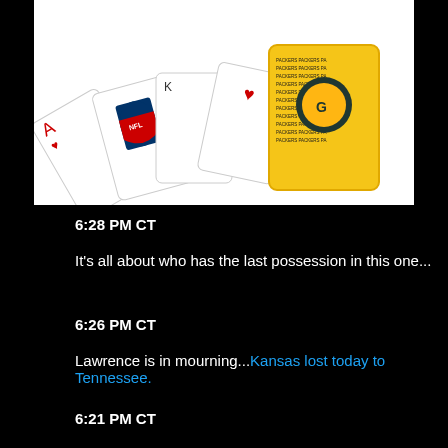[Figure (photo): NFL playing cards fanned out showing the Ace of Hearts and NFL shield logo, alongside a yellow Green Bay Packers card box with Packers branding pattern]
6:28 PM CT
It's all about who has the last possession in this one...
6:26 PM CT
Lawrence is in mourning...Kansas lost today to Tennessee.
6:21 PM CT